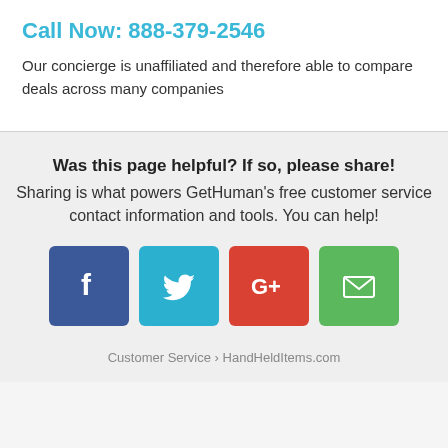Call Now: 888-379-2546
Our concierge is unaffiliated and therefore able to compare deals across many companies
Was this page helpful? If so, please share! Sharing is what powers GetHuman's free customer service contact information and tools. You can help!
[Figure (infographic): Four social sharing buttons: Facebook (blue), Twitter (light blue), Google+ (red), Email (green)]
Customer Service › HandHeldItems.com